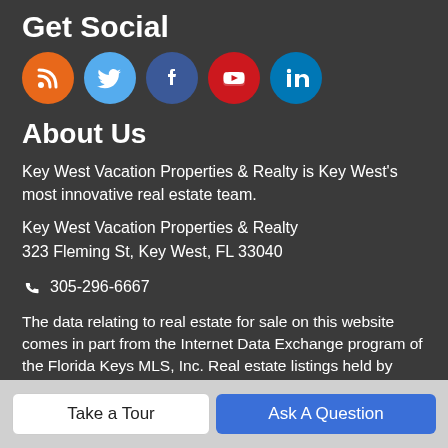Get Social
[Figure (infographic): Row of five social media icon circles: RSS (orange), Twitter (light blue), Facebook (dark blue), YouTube (red), LinkedIn (teal/blue)]
About Us
Key West Vacation Properties & Realty is Key West's most innovative real estate team.
Key West Vacation Properties & Realty
323 Fleming St, Key West, FL 33040
305-296-6667
The data relating to real estate for sale on this website comes in part from the Internet Data Exchange program of the Florida Keys MLS, Inc. Real estate listings held by brokerage firms other than
Take a Tour
Ask A Question